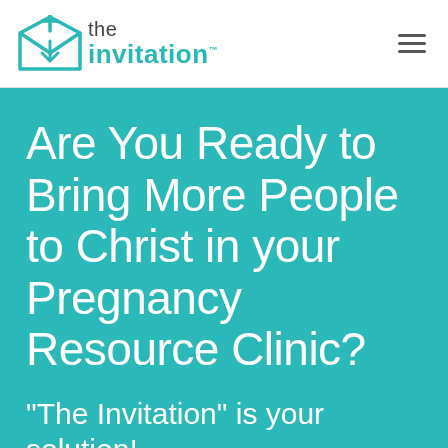the invitation
Are You Ready to Bring More People to Christ in your Pregnancy Resource Clinic?
“The Invitation” is your solution!